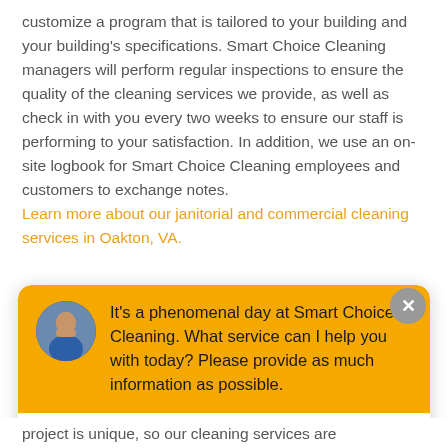customize a program that is tailored to your building and your building's specifications. Smart Choice Cleaning managers will perform regular inspections to ensure the quality of the cleaning services we provide, as well as check in with you every two weeks to ensure our staff is performing to your satisfaction. In addition, we use an on-site logbook for Smart Choice Cleaning employees and customers to exchange notes. Learn more about our janitorial and commercial cleaning services in Oakton, VA.
[Figure (screenshot): Chat widget with yellow/orange header showing avatar of a man and message: It's a phenomenal day at Smart Choice Cleaning. What service can I help you with today? Please provide as much information as possible. Below is a text input area with placeholder 'Write your message...' and a send button. A close (X) button appears in the top-right corner of the widget.]
project is unique, so our cleaning services are